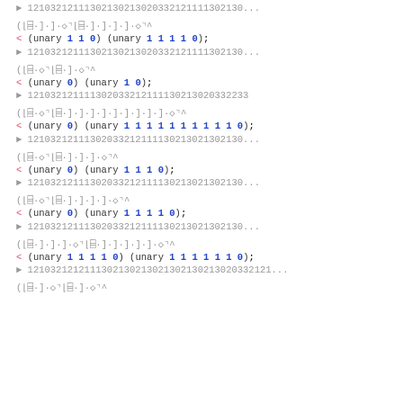► 12103212111302130213020332121111302130...
(⌊⌈·]·]·◇⌉⌊⌈·]·]·]·]·◇⌉^
< (unary 1 1 0) (unary 1 1 1 1 0);
► 12103212111302130213020332121111302130...
(⌊⌈·◇⌉⌊⌈·]·◇⌉^
< (unary 0) (unary 1 0);
► 121032121111302033212111130213020332233
(⌊⌈·◇⌉⌊⌈·]·]·]·]·]·]·]·]·◇⌉^
< (unary 0) (unary 1 1 1 1 1 1 1 1 1 1 0);
► 12103212111302033212111130213021302130...
(⌊⌈·◇⌉⌊⌈·]·]·]·◇⌉^
< (unary 0) (unary 1 1 1 0);
► 12103212111302033212111130213021302130...
(⌊⌈·◇⌉⌊⌈·]·]·]·]·◇⌉^
< (unary 0) (unary 1 1 1 1 0);
► 12103212111302033212111130213021302130...
(⌊⌈·]·]·]·◇⌉⌊⌈·]·]·]·]·]·◇⌉^
< (unary 1 1 1 1 0) (unary 1 1 1 1 1 1 0);
► 1210321212111302130213021302130213020332121...
(⌊⌈·]·◇⌉⌊⌈·]·◇⌉^